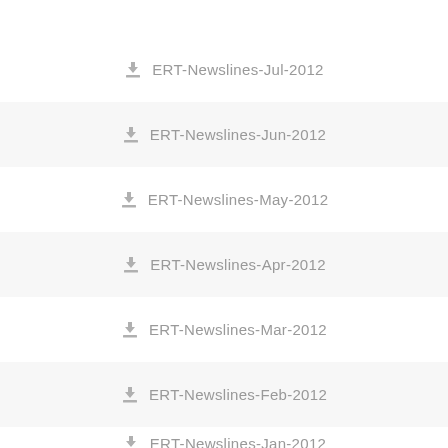ERT-Newslines-Jul-2012
ERT-Newslines-Jun-2012
ERT-Newslines-May-2012
ERT-Newslines-Apr-2012
ERT-Newslines-Mar-2012
ERT-Newslines-Feb-2012
ERT-Newslines-Jan-2012